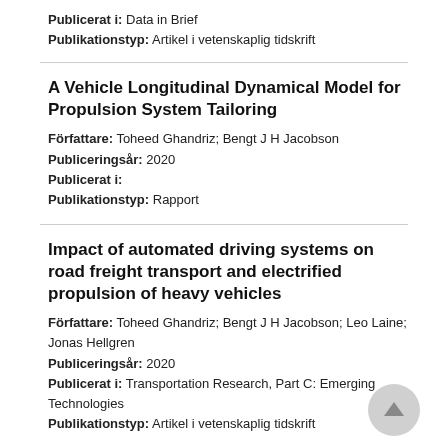Publicerat i: Data in Brief
Publikationstyp: Artikel i vetenskaplig tidskrift
A Vehicle Longitudinal Dynamical Model for Propulsion System Tailoring
Författare: Toheed Ghandriz; Bengt J H Jacobson
Publiceringsår: 2020
Publicerat i:
Publikationstyp: Rapport
Impact of automated driving systems on road freight transport and electrified propulsion of heavy vehicles
Författare: Toheed Ghandriz; Bengt J H Jacobson; Leo Laine; Jonas Hellgren
Publiceringsår: 2020
Publicerat i: Transportation Research, Part C: Emerging Technologies
Publikationstyp: Artikel i vetenskaplig tidskrift